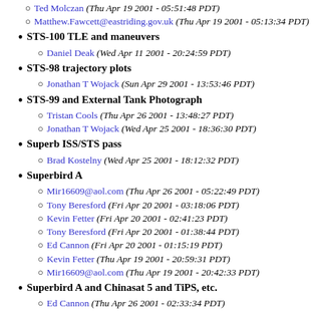Ted Molczan (Thu Apr 19 2001 - 05:51:48 PDT)
Matthew.Fawcett@eastriding.gov.uk (Thu Apr 19 2001 - 05:13:34 PDT)
STS-100 TLE and maneuvers
Daniel Deak (Wed Apr 11 2001 - 20:24:59 PDT)
STS-98 trajectory plots
Jonathan T Wojack (Sun Apr 29 2001 - 13:53:46 PDT)
STS-99 and External Tank Photograph
Tristan Cools (Thu Apr 26 2001 - 13:48:27 PDT)
Jonathan T Wojack (Wed Apr 25 2001 - 18:36:30 PDT)
Superb ISS/STS pass
Brad Kostelny (Wed Apr 25 2001 - 18:12:32 PDT)
Superbird A
Mir16609@aol.com (Thu Apr 26 2001 - 05:22:49 PDT)
Tony Beresford (Fri Apr 20 2001 - 03:18:06 PDT)
Kevin Fetter (Fri Apr 20 2001 - 02:41:23 PDT)
Tony Beresford (Fri Apr 20 2001 - 01:38:44 PDT)
Ed Cannon (Fri Apr 20 2001 - 01:15:19 PDT)
Kevin Fetter (Thu Apr 19 2001 - 20:59:31 PDT)
Mir16609@aol.com (Thu Apr 19 2001 - 20:42:33 PDT)
Superbird A and Chinasat 5 and TiPS, etc.
Ed Cannon (Thu Apr 26 2001 - 02:33:34 PDT)